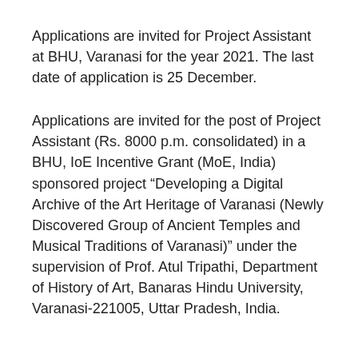Applications are invited for Project Assistant at BHU, Varanasi for the year 2021. The last date of application is 25 December.
Applications are invited for the post of Project Assistant (Rs. 8000 p.m. consolidated) in a BHU, IoE Incentive Grant (MoE, India) sponsored project “Developing a Digital Archive of the Art Heritage of Varanasi (Newly Discovered Group of Ancient Temples and Musical Traditions of Varanasi)” under the supervision of Prof. Atul Tripathi, Department of History of Art, Banaras Hindu University, Varanasi-221005, Uttar Pradesh, India.